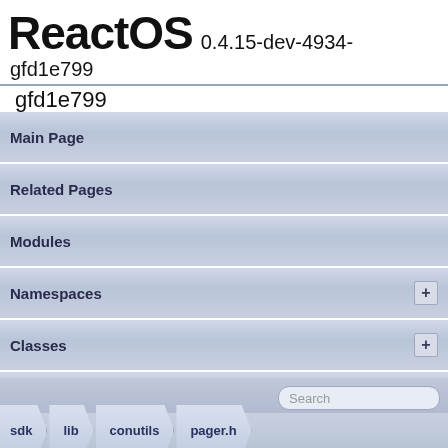ReactOS 0.4.15-dev-4934-gfd1e799
Main Page
Related Pages
Modules
Namespaces +
Classes +
Files +
Examples
Classes | Macros | Typedefs | Functions
sdk  lib  conutils  pager.h